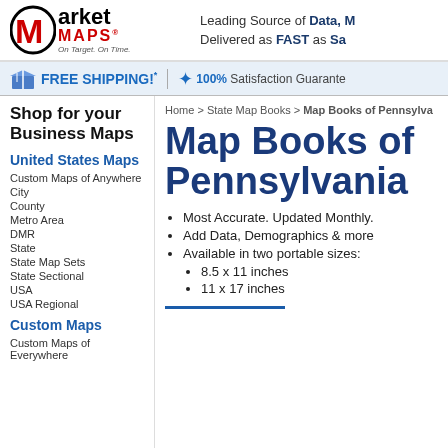Market Maps - On Target. On Time. | Leading Source of Data, Maps | Delivered as FAST as Same Day
FREE SHIPPING!* | 100% Satisfaction Guarantee
Shop for your Business Maps
United States Maps
Custom Maps of Anywhere
City
County
Metro Area
DMR
State
State Map Sets
State Sectional
USA
USA Regional
Custom Maps
Custom Maps of Everywhere
Home > State Map Books > Map Books of Pennsylvania
Map Books of Pennsylvania
Most Accurate. Updated Monthly.
Add Data, Demographics & more
Available in two portable sizes:
8.5 x 11 inches
11 x 17 inches